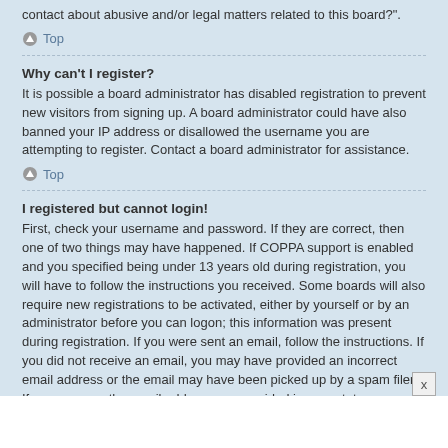contact about abusive and/or legal matters related to this board?".
Top
Why can't I register?
It is possible a board administrator has disabled registration to prevent new visitors from signing up. A board administrator could have also banned your IP address or disallowed the username you are attempting to register. Contact a board administrator for assistance.
Top
I registered but cannot login!
First, check your username and password. If they are correct, then one of two things may have happened. If COPPA support is enabled and you specified being under 13 years old during registration, you will have to follow the instructions you received. Some boards will also require new registrations to be activated, either by yourself or by an administrator before you can logon; this information was present during registration. If you were sent an email, follow the instructions. If you did not receive an email, you may have provided an incorrect email address or the email may have been picked up by a spam filer. If you are sure the email address you provided is correct, try contacting an administrator.